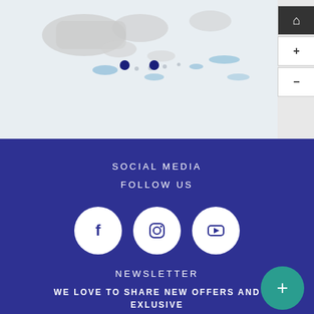[Figure (map): Partial map showing Caribbean/Pacific island region in light gray with blue water bodies and two dark navy location pins]
SOCIAL MEDIA
FOLLOW US
[Figure (infographic): Three white circular social media icons: Facebook (f), Instagram (camera), YouTube (play button) on dark blue background]
NEWSLETTER
WE LOVE TO SHARE NEW OFFERS AND EXLUSIVE PROMOTIONS